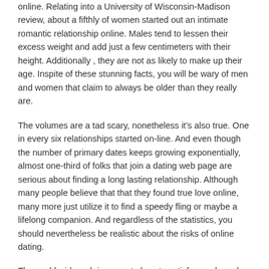online. Relating into a University of Wisconsin-Madison review, about a fifthly of women started out an intimate romantic relationship online. Males tend to lessen their excess weight and add just a few centimeters with their height. Additionally , they are not as likely to make up their age. Inspite of these stunning facts, you will be wary of men and women that claim to always be older than they really are.
The volumes are a tad scary, nonetheless it's also true. One in every six relationships started on-line. And even though the number of primary dates keeps growing exponentially, almost one-third of folks that join a dating web page are serious about finding a long lasting relationship. Although many people believe that that they found true love online, many more just utilize it to find a speedy fling or maybe a lifelong companion. And regardless of the statistics, you should nevertheless be realistic about the risks of online dating.
The world wide web is a great place to satisfy people and date. It's a relatively secure environment with respect to sensitive fellas. Studies have indicated that women drive more moreattract private messages and satisfy more persons online than men. You will need to realize that, as opposed to in the real world, most people how to start much about technology, therefore aren't skilled to judge another person's sexual behavior. This is why the vast majority of people who become a